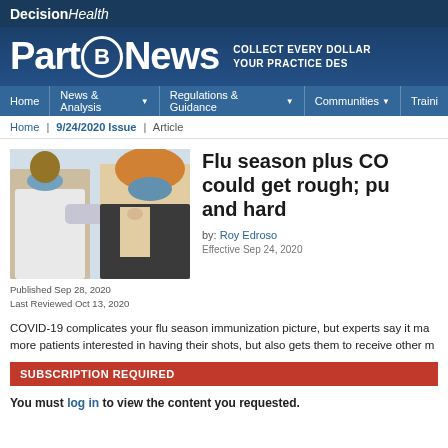DecisionHealth
[Figure (logo): PartBNews logo with tagline: COLLECT EVERY DOLLAR YOUR PRACTICE DES]
Home | News & Analysis | Regulations & Guidance | Communities | Training
Home | 9/24/2020 Issue | Article
[Figure (photo): A healthcare worker in gloves administering a vaccine injection to a patient wearing a mask]
Published Sep 28, 2020
Last Reviewed Oct 13, 2020
Flu season plus CO could get rough; pu and hard
by: Roy Edroso
Effective Sep 24, 2020
COVID-19 complicates your flu season immunization picture, but experts say it ma more patients interested in having their shots, but also gets them to receive other m
SUBSCRIPTION REQUIRED
You must log in to view the content you requested.